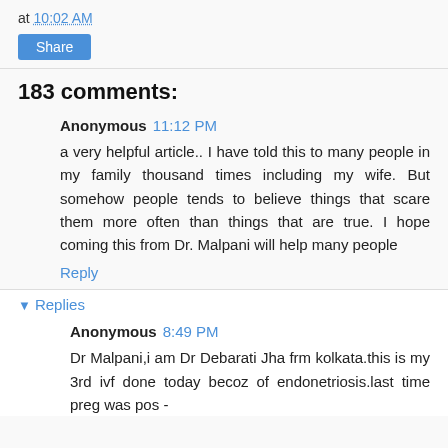at 10:02 AM
Share
183 comments:
Anonymous 11:12 PM
a very helpful article.. I have told this to many people in my family thousand times including my wife. But somehow people tends to believe things that scare them more often than things that are true. I hope coming this from Dr. Malpani will help many people
Reply
Replies
Anonymous 8:49 PM
Dr Malpani,i am Dr Debarati Jha frm kolkata.this is my 3rd ivf done today becoz of endonetriosis.last time preg was pos -